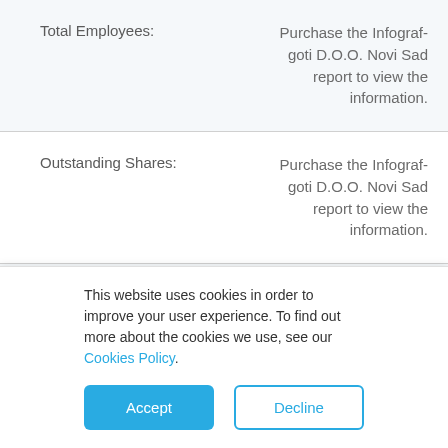| Field | Value |
| --- | --- |
| Total Employees: | Purchase the Infograf-goti D.O.O. Novi Sad report to view the information. |
| Outstanding Shares: | Purchase the Infograf-goti D.O.O. Novi Sad report to view the information. |
| Registered Capital: | Purchase the Infograf-goti D.O.O. Novi Sad report to view the information. |
| Ratings: | Purchase the Infograf-goti D.O.O. Novi Sad report to view the information. |
This website uses cookies in order to improve your user experience. To find out more about the cookies we use, see our Cookies Policy.